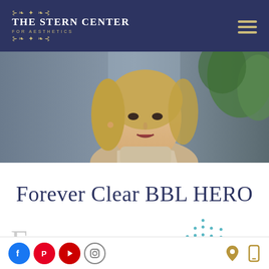The Stern Center for Aesthetics
[Figure (photo): Portrait photo of a young blonde woman wearing a beige turtleneck sweater, sitting near a window with green plants in the background]
Forever Clear BBL HERO
Forever...
[Figure (illustration): Dot pattern illustration in teal/cyan color, resembling scattered dots in a triangular/arc arrangement]
Social media icons: Facebook, Pinterest, YouTube, Instagram; Location and mobile icons on the right